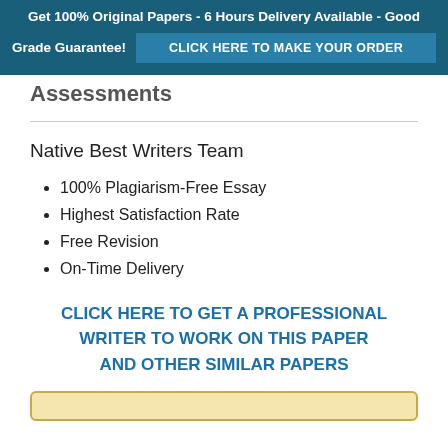Get 100% Original Papers - 6 Hours Delivery Available - Good Grade Guarantee! CLICK HERE TO MAKE YOUR ORDER
Assessments
Native Best Writers Team
100% Plagiarism-Free Essay
Highest Satisfaction Rate
Free Revision
On-Time Delivery
CLICK HERE TO GET A PROFESSIONAL WRITER TO WORK ON THIS PAPER AND OTHER SIMILAR PAPERS